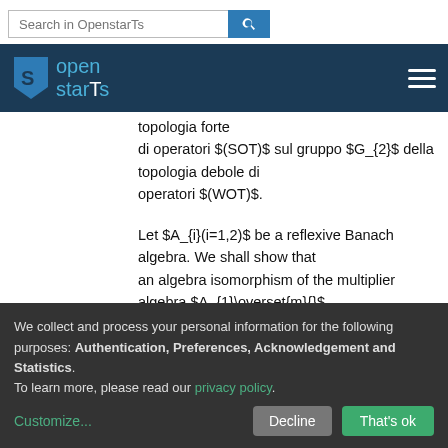[Figure (screenshot): Search bar with 'Search in OpenstarTs' placeholder and blue search button]
[Figure (logo): OpenstarTs logo on dark navy navigation bar with hamburger menu icon]
topologia forte di operatori $(SOT)$ sul gruppo $G_{2}$ della topologia debole di operatori $(WOT)$.
Let $A_{i}(i=1,2)$ be a reflexive Banach algebra. We shall show that an algebra isomorphism of the multiplier algebra $A_{1}\overset{m}{}$
We collect and process your personal information for the following purposes: Authentication, Preferences, Acknowledgement and Statistics.
To learn more, please read our privacy policy.
Customize...
Decline
That's ok